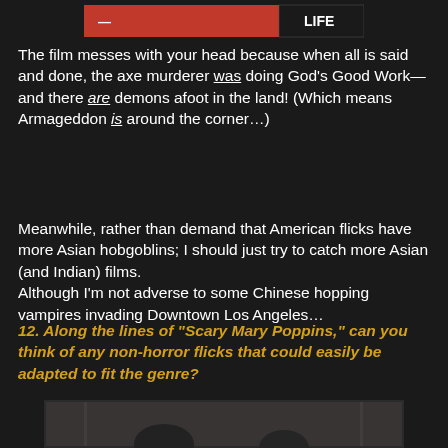[Figure (photo): Partial view of a magazine/website logo with red background and text 'LIFE']
The film messes with your head because when all is said and done, the axe murderer was doing God's Good Work—and there are demons afoot in the land! (Which means Armageddon is around the corner…)
Meanwhile, rather than demand that American flicks have more Asian hobgoblins; I should just try to catch more Asian (and Indian) films.
Although I'm not adverse to some Chinese hopping vampires invading Downtown Los Angeles…
12. Along the lines of "Scary Mary Poppins," can you think of any non-horror flicks that could easily be adapted to fit the genre?
[Figure (photo): Black and white photo of two people, a man and a woman, in an ornate interior setting]